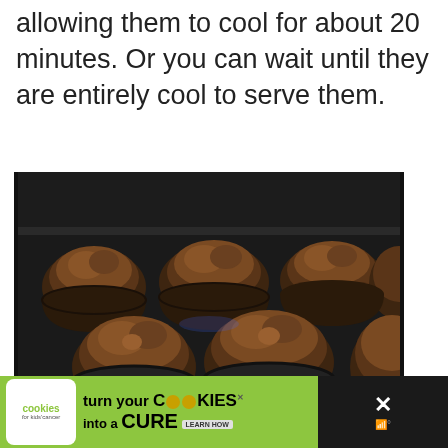allowing them to cool for about 20 minutes. Or you can wait until they are entirely cool to serve them.
[Figure (photo): Chocolate muffins in a muffin tin inside an oven, viewed from above at an angle. The muffins are dark brown and appear freshly baked.]
turn your COOKIES into a CURE LEARN HOW